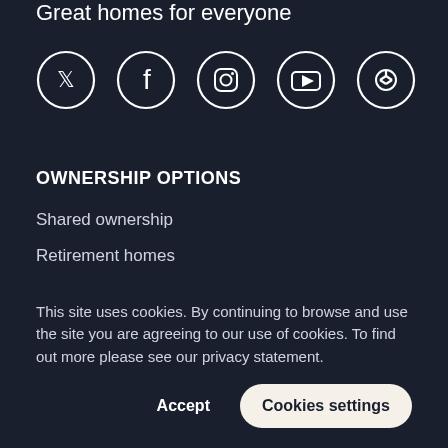Great homes for everyone
[Figure (illustration): Five social media icons in white circle outlines on dark background: Twitter, Facebook, Instagram, YouTube, Pinterest]
OWNERSHIP OPTIONS
Shared ownership
Retirement homes
Outright sales
This site uses cookies. By continuing to browse and use the site you are agreeing to our use of cookies. To find out more please see our privacy statement.
Accept
Cookies settings